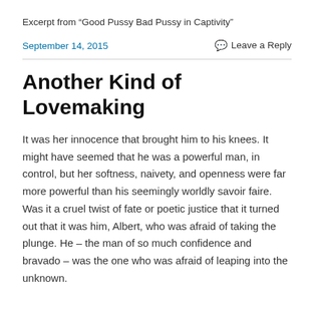Excerpt from “Good Pussy Bad Pussy in Captivity”
September 14, 2015
Leave a Reply
Another Kind of Lovemaking
It was her innocence that brought him to his knees. It might have seemed that he was a powerful man, in control, but her softness, naivety, and openness were far more powerful than his seemingly worldly savoir faire. Was it a cruel twist of fate or poetic justice that it turned out that it was him, Albert, who was afraid of taking the plunge. He – the man of so much confidence and bravado – was the one who was afraid of leaping into the unknown.